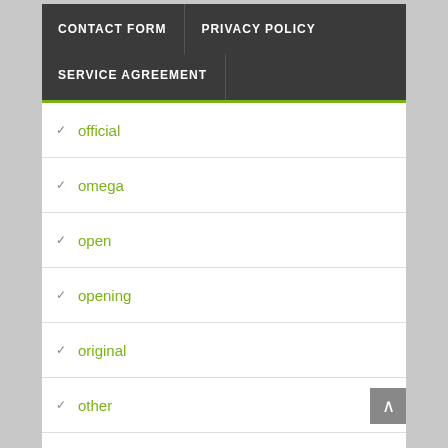CONTACT FORM | PRIVACY POLICY
SERVICE AGREEMENT
official
omega
open
opening
original
other
ounce
ounces
owner
p-s-w
pair